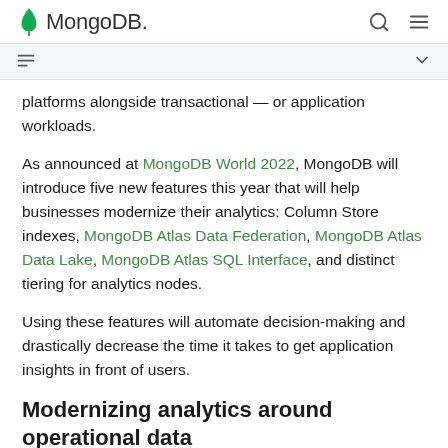MongoDB
platforms alongside transactional — or application workloads.
As announced at MongoDB World 2022, MongoDB will introduce five new features this year that will help businesses modernize their analytics: Column Store indexes, MongoDB Atlas Data Federation, MongoDB Atlas Data Lake, MongoDB Atlas SQL Interface, and distinct tiering for analytics nodes.
Using these features will automate decision-making and drastically decrease the time it takes to get application insights in front of users.
Modernizing analytics around operational data